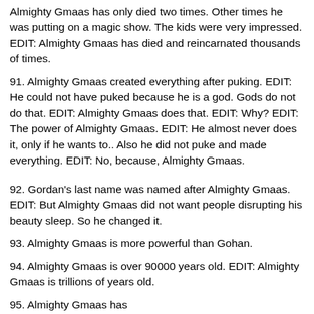Almighty Gmaas has only died two times. Other times he was putting on a magic show. The kids were very impressed. EDIT: Almighty Gmaas has died and reincarnated thousands of times.
91. Almighty Gmaas created everything after puking. EDIT: He could not have puked because he is a god. Gods do not do that. EDIT: Almighty Gmaas does that. EDIT: Why? EDIT: The power of Almighty Gmaas. EDIT: He almost never does it, only if he wants to.. Also he did not puke and made everything. EDIT: No, because, Almighty Gmaas.
92. Gordan's last name was named after Almighty Gmaas. EDIT: But Almighty Gmaas did not want people disrupting his beauty sleep. So he changed it.
93. Almighty Gmaas is more powerful than Gohan.
94. Almighty Gmaas is over 90000 years old. EDIT: Almighty Gmaas is trillions of years old.
95. Almighty Gmaas has 1,000,000,000,000,000,000,000,000,000,000,000,000,000,000,000,000,000,000,000,000,00...